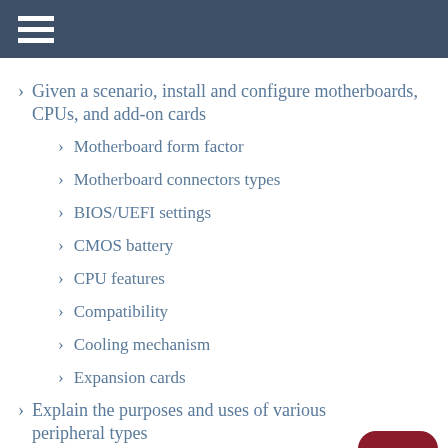Given a scenario, install and configure motherboards, CPUs, and add-on cards
Motherboard form factor
Motherboard connectors types
BIOS/UEFI settings
CMOS battery
CPU features
Compatibility
Cooling mechanism
Expansion cards
Explain the purposes and uses of various peripheral types
Printer